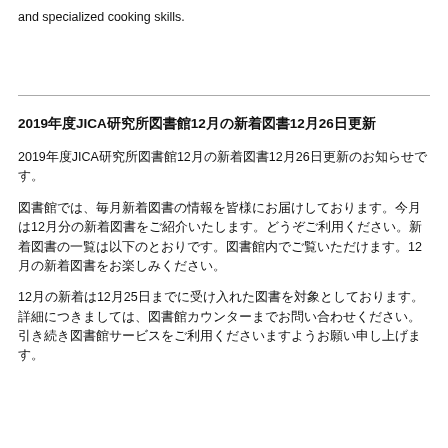and specialized cooking skills.
2019年度JICA研究所図書館12月の新着図書12月26日更新
2019年度JICA研究所図書館12月の新着図書12月26日更新のお知らせです。
図書館では、毎月新着図書の情報を皆様にお届けしております。今月は12月分の新着図書をご紹介いたします。どうぞご利用ください。新着図書の一覧は以下のとおりです。図書館内でご覧いただけます。12月の新着図書をお楽しみください。
12月の新着は12月25日までに受け入れた図書を対象としております。詳細につきましては、図書館カウンターまでお問い合わせください。引き続き図書館サービスをご利用くださいますようお願い申し上げます。